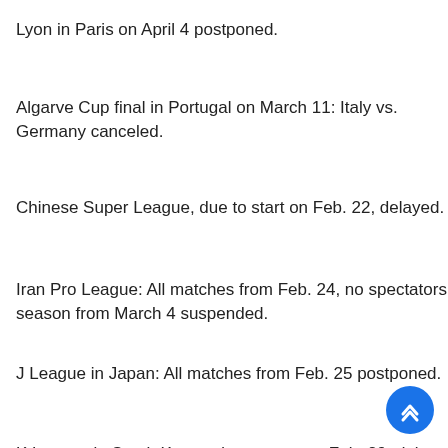Lyon in Paris on April 4 postponed.
Algarve Cup final in Portugal on March 11: Italy vs. Germany canceled.
Chinese Super League, due to start on Feb. 22, delayed.
Iran Pro League: All matches from Feb. 24, no spectators; season from March 4 suspended.
J League in Japan: All matches from Feb. 25 postponed.
K League in South Korea, due to start on Feb. 29, delayed.